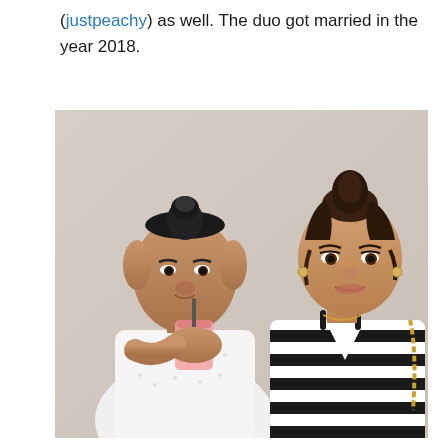(justpeachy) as well. The duo got married in the year 2018.
[Figure (photo): A couple posing together. On the left, a man with his hair in a top bun wearing a white patterned short-sleeve shirt, drinking from a pink/red drink through a straw. On the right, a woman with her hair up in a high ponytail, wearing a black and white striped spaghetti-strap top and carrying a gold chain-strap bag. They are standing against a light beige/white wall.]